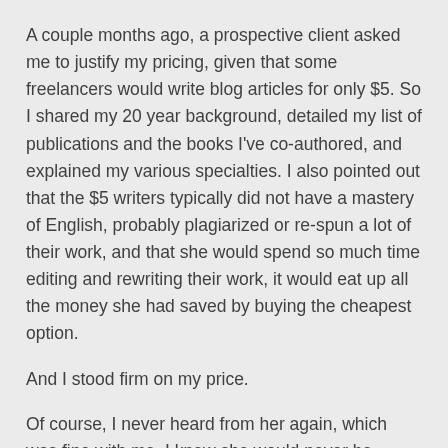A couple months ago, a prospective client asked me to justify my pricing, given that some freelancers would write blog articles for only $5. So I shared my 20 year background, detailed my list of publications and the books I've co-authored, and explained my various specialties. I also pointed out that the $5 writers typically did not have a mastery of English, probably plagiarized or re-spun a lot of their work, and that she would spend so much time editing and rewriting their work, it would eat up all the money she had saved by buying the cheapest option.
And I stood firm on my price.
Of course, I never heard from her again, which was fine with me. I knew she would never be satisfied with my price unless I charged $4 per article. That's the